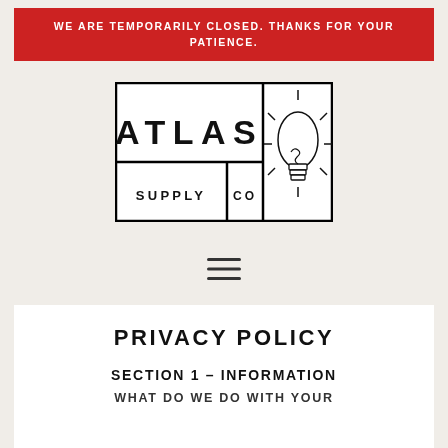WE ARE TEMPORARILY CLOSED. THANKS FOR YOUR PATIENCE.
[Figure (logo): Atlas Supply Co logo with stylized lightbulb — bordered rectangular logo with 'ATLAS' in large spaced capitals top, 'SUPPLY' bottom left, 'CO' bottom right, and vintage filament bulb illustration on right panel]
[Figure (other): Hamburger menu icon — three horizontal lines]
PRIVACY POLICY
SECTION 1 – INFORMATION
WHAT DO WE DO WITH YOUR